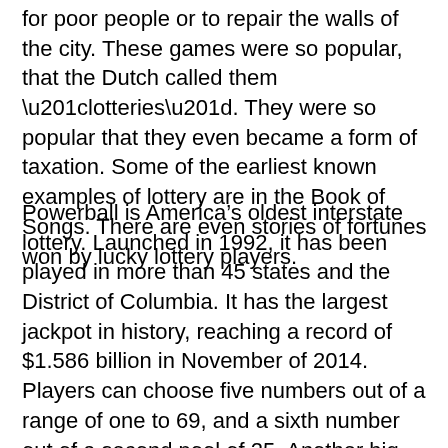for poor people or to repair the walls of the city. These games were so popular, that the Dutch called them “lotteries”. They were so popular that they even became a form of taxation. Some of the earliest known examples of lottery are in the Book of Songs. There are even stories of fortunes won by lucky lottery players.
Powerball is America’s oldest interstate lottery. Launched in 1992, it has been played in more than 45 states and the District of Columbia. It has the largest jackpot in history, reaching a record of $1.586 billion in November of 2014. Players can choose five numbers out of a range of one to 69, and a sixth number out of a second pool of 25. Another big lottery is the Powerball, coordinated by the Multi-State Lottery Association. Powerball is known for its large jackpots, making lottery players into millionaires on a regular basis. Powerball is played at night, and draws are held on Wednesday and